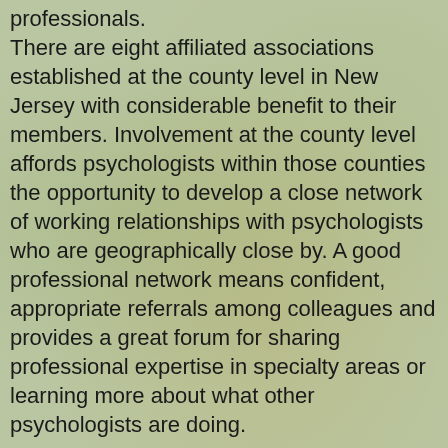professionals. There are eight affiliated associations established at the county level in New Jersey with considerable benefit to their members. Involvement at the county level affords psychologists within those counties the opportunity to develop a close network of working relationships with psychologists who are geographically close by. A good professional network means confident, appropriate referrals among colleagues and provides a great forum for sharing professional expertise in specialty areas or learning more about what other psychologists are doing.
Affiliated with the New Jersey Psychological Association, these county associations have formed a caucus which has representation on the Executive Board of NJPA, which provides us with an additional means of having our particular interests represented at the state level as well.